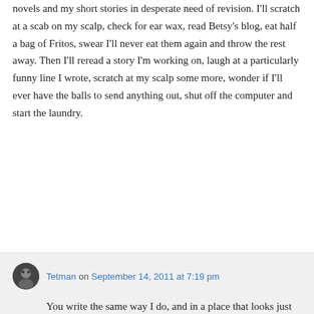novels and my short stories in desperate need of revision. I'll scratch at a scab on my scalp, check for ear wax, read Betsy's blog, eat half a bag of Fritos, swear I'll never eat them again and throw the rest away. Then I'll reread a story I'm working on, laugh at a particularly funny line I wrote, scratch at my scalp some more, wonder if I'll ever have the balls to send anything out, shut off the computer and start the laundry.
↳ Reply
Tetman on September 14, 2011 at 7:19 pm
You write the same way I do, and in a place that looks just like mine. See you at the Oscars! (in the kitchen, eating tuna with the